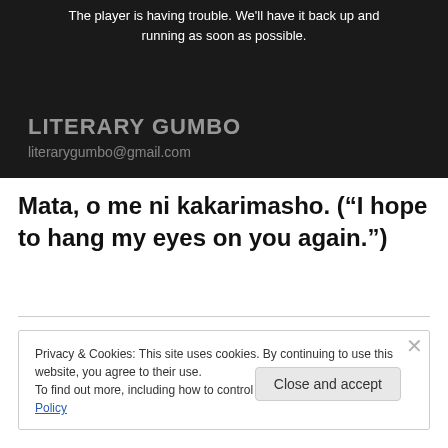[Figure (screenshot): Video player with dark background showing error message 'The player is having trouble. We'll have it back up and running as soon as possible.' with 'LITERARY GUMBO' title and 'literarygumbo@gmail.com' overlaid.]
Mata, o me ni kakarimasho. (“I hope to hang my eyes on you again.”)
Privacy & Cookies: This site uses cookies. By continuing to use this website, you agree to their use.
To find out more, including how to control cookies, see here: Cookie Policy
Close and accept